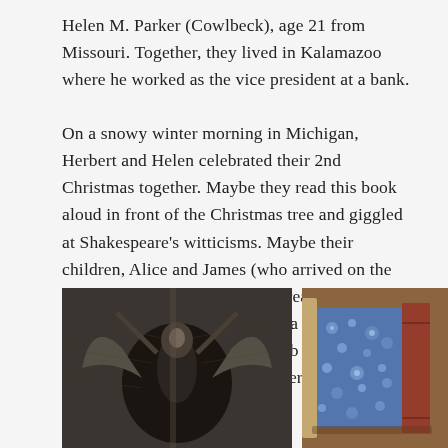Helen M. Parker (Cowlbeck), age 21 from Missouri. Together, they lived in Kalamazoo where he worked as the vice president at a bank.
On a snowy winter morning in Michigan, Herbert and Helen celebrated their 2nd Christmas together. Maybe they read this book aloud in front of the Christmas tree and giggled at Shakespeare’s witticisms. Maybe their children, Alice and James (who arrived on the scene just a couple years later) read the text for school and studied the lines for a school play. Maybe the Gaskell Literary Club kicked off a new story in the life of the Parkers in 1889.
[Figure (photo): Black and white illustration or engraving showing a figure with wings or dramatic pose, artistic vintage style]
[Figure (photo): Photo of books with decorative blue floral patterned cover and brown/red spine, stacked or leaning]